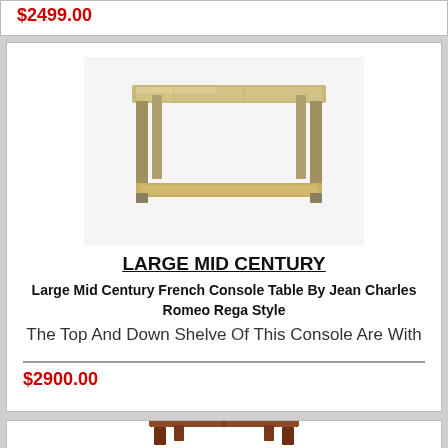$2499.00
[Figure (photo): Mid century two-tier chrome and glass console table with gold-toned metal frame, top glass shelf and lower shelf with beige/cream surface]
LARGE MID CENTURY
Large Mid Century French Console Table By Jean Charles Romeo Rega Style
The Top And Down Shelve Of This Console Are With
$2900.00
[Figure (photo): Low square mid-century coffee table with brown leather or stitched top surface and short wooden legs, partially visible]